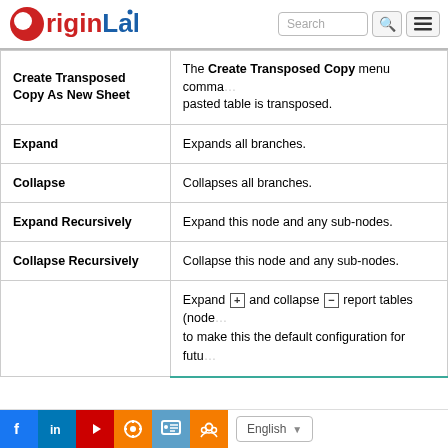OriginLab [logo] Search [search button] [menu button]
| Command | Description |
| --- | --- |
| Create Transposed Copy As New Sheet | The Create Transposed Copy menu command... pasted table is transposed. |
| Expand | Expands all branches. |
| Collapse | Collapses all branches. |
| Expand Recursively | Expand this node and any sub-nodes. |
| Collapse Recursively | Collapse this node and any sub-nodes. |
|  | Expand [+] and collapse [-] report tables (node... to make this the default configuration for futu... |
Facebook LinkedIn YouTube Settings RSS Group | English